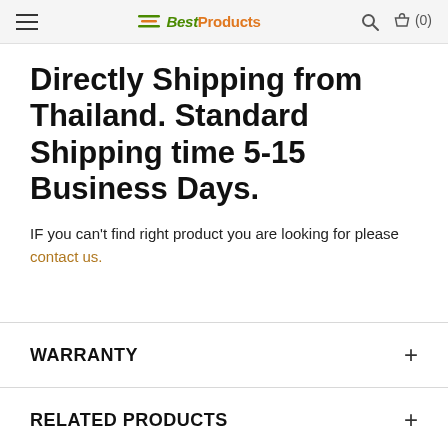BestProducts (0)
Directly Shipping from Thailand. Standard Shipping time 5-15 Business Days.
IF you can't find right product you are looking for please contact us.
WARRANTY
RELATED PRODUCTS